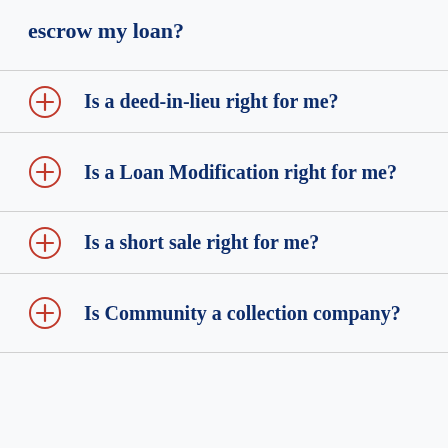escrow my loan?
Is a deed-in-lieu right for me?
Is a Loan Modification right for me?
Is a short sale right for me?
Is Community a collection company?